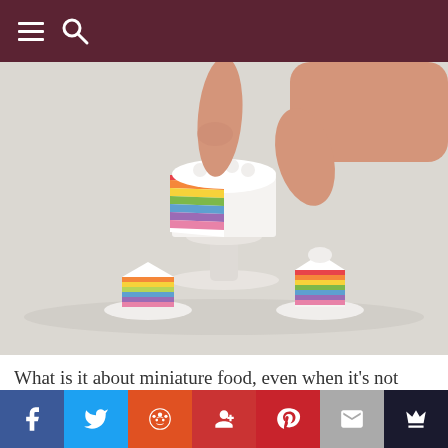[hamburger menu icon] [search icon]
[Figure (photo): A miniature rainbow layered cake on a white cake stand being held by giant human fingers, with two small slice pieces on tiny white plates in the foreground. The cake has colorful layers in rainbow colors visible from a cut section.]
What is it about miniature food, even when it's not
Facebook | Twitter | Reddit | Google+ | Pinterest | Email | Crown